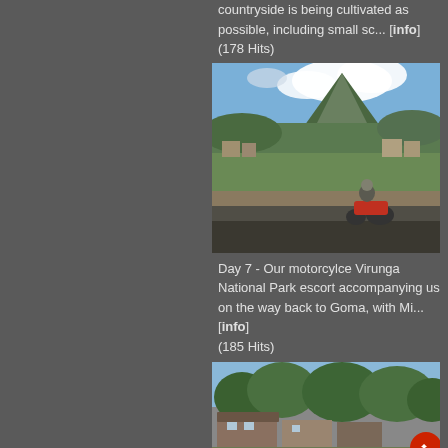countryside is being cultivated as possible, including small sc... [info] (178 Hits)
[Figure (photo): Motorcycle rider on a road with mountain and cloudy sky in the background, buildings visible in the distance, Virunga National Park area]
Day 7 - Our motorcylce Virunga National Park escort accompanying us on the way back to Goma, with Mi... [info] (185 Hits)
[Figure (photo): Partial view of buildings among trees, likely in Goma area, with a red circular scroll button in the bottom right corner]